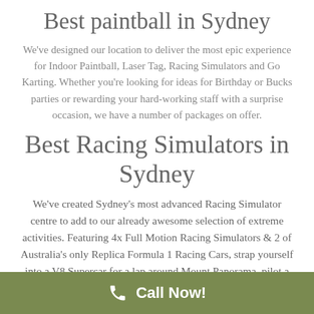Best paintball in Sydney
We've designed our location to deliver the most epic experience for Indoor Paintball, Laser Tag, Racing Simulators and Go Karting. Whether you're looking for ideas for Birthday or Bucks parties or rewarding your hard-working staff with a surprise occasion, we have a number of packages on offer.
Best Racing Simulators in Sydney
We've created Sydney's most advanced Racing Simulator centre to add to our already awesome selection of extreme activities. Featuring 4x Full Motion Racing Simulators & 2 of Australia's only Replica Formula 1 Racing Cars, strap yourself into a V8 Supercar for a lap around Mount Panorama, pilot a Lamborghini GT3 on Sydney Motorsport
Call Now!